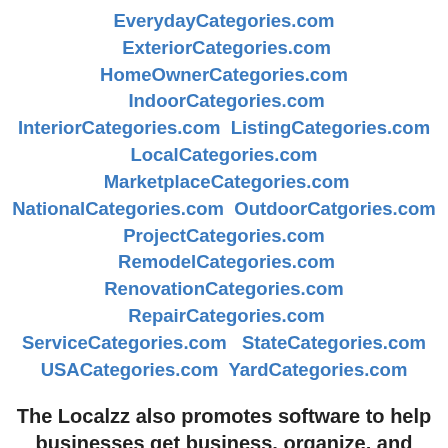EverydayCategories.com  ExteriorCategories.com  HomeOwnerCategories.com  IndoorCategories.com  InteriorCategories.com  ListingCategories.com  LocalCategories.com  MarketplaceCategories.com  NationalCategories.com  OutdoorCatgories.com  ProjectCategories.com  RemodelCategories.com  RenovationCategories.com  RepairCategories.com  ServiceCategories.com  StateCategories.com  USACategories.com  YardCategories.com
The Localzz also promotes software to help businesses get business, organize, and manage customers or clients (with a 14-DayFreeTrial.com):
BusinessesAutomated.com  BusinessesCentralized.com  BusinessesContacted.com  BusinessesCredited.com